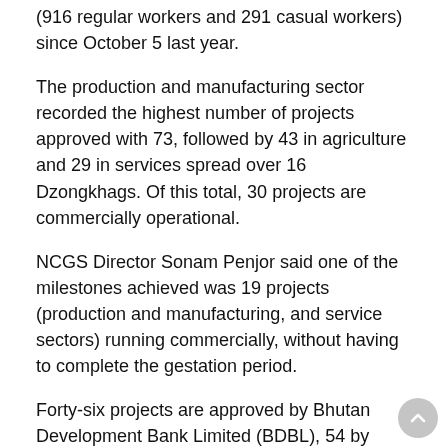(916 regular workers and 291 casual workers) since October 5 last year.
The production and manufacturing sector recorded the highest number of projects approved with 73, followed by 43 in agriculture and 29 in services spread over 16 Dzongkhags. Of this total, 30 projects are commercially operational.
NCGS Director Sonam Penjor said one of the milestones achieved was 19 projects (production and manufacturing, and service sectors) running commercially, without having to complete the gestation period.
Forty-six projects are approved by Bhutan Development Bank Limited (BDBL), 54 by Bank of Bhutan Limited (BoBL) and 45 by National Cottage and Small Industries Development Bank Limited (NCSIDBL).
Of the total loan amount disbursed by participating banks, Nu 119.95 million was sanctioned by BDBL, Nu 274.52 million by